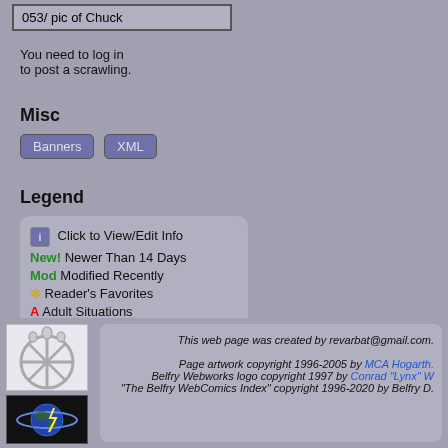053/ pic of Chuck
You need to log in to post a scrawling.
Misc
Banners  XML
Legend
Click to View/Edit Info
New! Newer Than 14 Days
Mod Modified Recently
* Reader's Favorites
A Adult Situations
L Adult Language
N Nudity
V Graphic Violence
X Explicit (NC-17)
This web page was created by revarbat@gmail.com. Page artwork copyright 1996-2005 by MCA Hogarth. Belfry Webworks logo copyright 1997 by Conrad "Lynx" W. "The Belfry WebComics Index" copyright 1996-2020 by Belfry D.